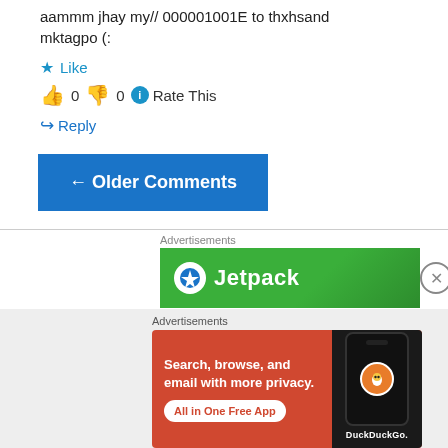aammm jhay my// 000001001E to mktagpo (:
★ Like
👍 0 👎 0 ℹ Rate This
↪ Reply
← Older Comments
Advertisements
[Figure (screenshot): Jetpack advertisement banner with green background and white logo]
Advertisements
[Figure (screenshot): DuckDuckGo advertisement: Search, browse, and email with more privacy. All in One Free App]